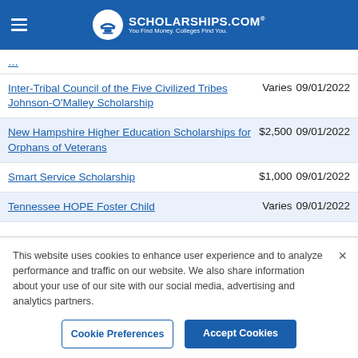SCHOLARSHIPS.COM — You Find Money. Colleges Find You.
| Scholarship | Amount | Deadline |
| --- | --- | --- |
| Inter-Tribal Council of the Five Civilized Tribes Johnson-O'Malley Scholarship | Varies | 09/01/2022 |
| New Hampshire Higher Education Scholarships for Orphans of Veterans | $2,500 | 09/01/2022 |
| Smart Service Scholarship | $1,000 | 09/01/2022 |
| Tennessee HOPE Foster Child | Varies | 09/01/2022 |
This website uses cookies to enhance user experience and to analyze performance and traffic on our website. We also share information about your use of our site with our social media, advertising and analytics partners.
Cookie Preferences
Accept Cookies